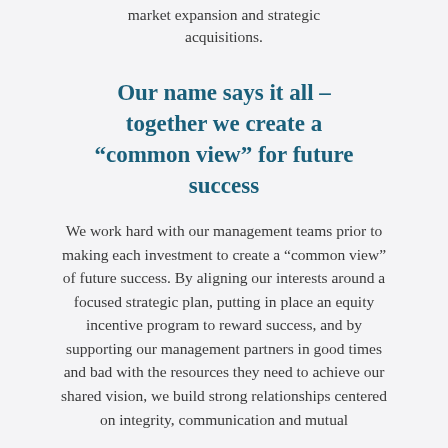market expansion and strategic acquisitions.
Our name says it all – together we create a “common view” for future success
We work hard with our management teams prior to making each investment to create a “common view” of future success. By aligning our interests around a focused strategic plan, putting in place an equity incentive program to reward success, and by supporting our management partners in good times and bad with the resources they need to achieve our shared vision, we build strong relationships centered on integrity, communication and mutual